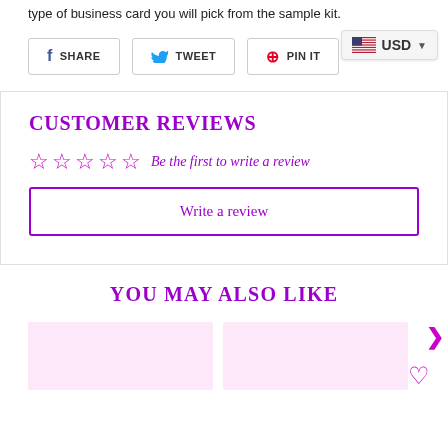type of business card you will pick from the sample kit.
[Figure (screenshot): USD currency selector button with US flag]
[Figure (screenshot): Social share buttons: SHARE, TWEET, PIN IT]
CUSTOMER REVIEWS
☆☆☆☆☆ Be the first to write a review
Write a review
YOU MAY ALSO LIKE
[Figure (photo): Product card thumbnails (pink background placeholders)]